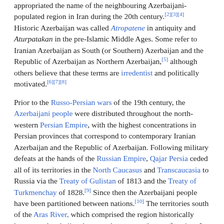appropriated the name of the neighbouring Azerbaijani-populated region in Iran during the 20th century.[2][3][4] Historic Azerbaijan was called Atropatene in antiquity and Aturpatakan in the pre-Islamic Middle Ages. Some refer to Iranian Azerbaijan as South (or Southern) Azerbaijan and the Republic of Azerbaijan as Northern Azerbaijan,[5] although others believe that these terms are irredentist and politically motivated.[6][7][8]
Prior to the Russo-Persian wars of the 19th century, the Azerbaijani people were distributed throughout the north-western Persian Empire, with the highest concentrations in Persian provinces that correspond to contemporary Iranian Azerbaijan and the Republic of Azerbaijan. Following military defeats at the hands of the Russian Empire, Qajar Persia ceded all of its territories in the North Caucasus and Transcaucasia to Russia via the Treaty of Gulistan of 1813 and the Treaty of Turkmenchay of 1828.[9] Since then the Azerbaijani people have been partitioned between nations.[10] The territories south of the Aras River, which comprised the region historically known as Azerbaijan, became the new north-west frontier of the Persian Empire and later Iran.[11] The territories north